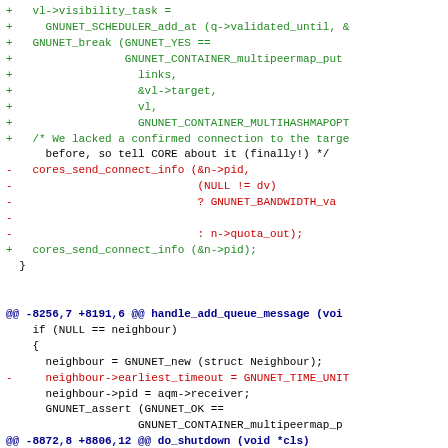Code diff showing changes to GNUnet transport layer functions including handle_add_queue_message and do_shutdown
[Figure (screenshot): A unified diff patch showing additions (green, prefixed with +), deletions (red, prefixed with -), context lines (blue/black), and hunk headers (dark blue @@ lines) for a C source file involving GNUnet scheduler, container, and transport functions.]